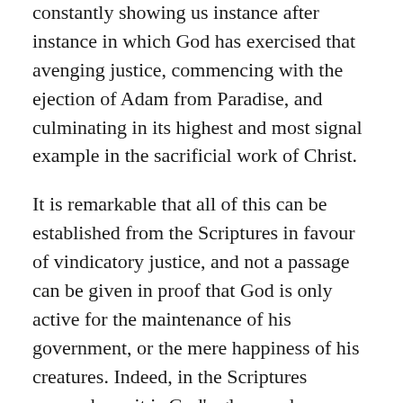constantly showing us instance after instance in which God has exercised that avenging justice, commencing with the ejection of Adam from Paradise, and culminating in its highest and most signal example in the sacrificial work of Christ.
It is remarkable that all of this can be established from the Scriptures in favour of vindicatory justice, and not a passage can be given in proof that God is only active for the maintenance of his government, or the mere happiness of his creatures. Indeed, in the Scriptures everywhere, it is God’s glory and dishonor, his holiness and sin, his love and his justice, that are placed in fearful contrast.
1. Passages in which God is spoken of as having a just character, and in which this is held forth as an excellence in him. How can these be accounted for, if